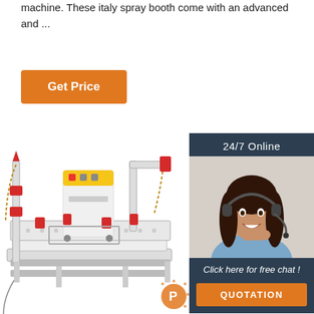machine. These italy spray booth come with an advanced and ...
Get Price
[Figure (infographic): Sidebar box with dark background showing '24/7 Online' text, photo of a woman wearing a headset smiling, 'Click here for free chat!' text, and an orange 'QUOTATION' button]
[Figure (photo): Auto body frame straightening machine with red and white components, chains, clamps, and a separate white control unit with yellow top panel (POWERSLIDE brand)]